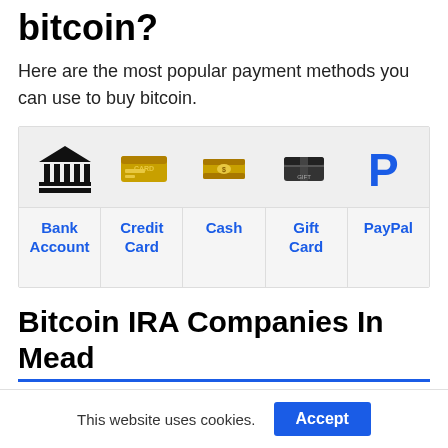bitcoin?
Here are the most popular payment methods you can use to buy bitcoin.
[Figure (infographic): Payment method icons and labels: Bank Account (bank building icon), Credit Card (gold credit card icon), Cash (cash bills icon), Gift Card (gift card icon), PayPal (PayPal logo)]
Bitcoin IRA Companies In Mead
This website uses cookies.